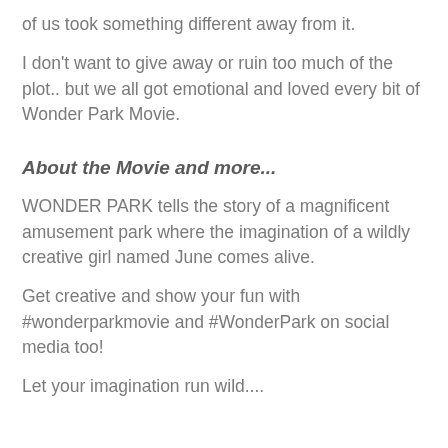of us took something different away from it.
I don't want to give away or ruin too much of the plot.. but we all got emotional and loved every bit of Wonder Park Movie.
About the Movie and more...
WONDER PARK tells the story of a magnificent amusement park where the imagination of a wildly creative girl named June comes alive.
Get creative and show your fun with #wonderparkmovie and #WonderPark on social media too!
Let your imagination run wild....